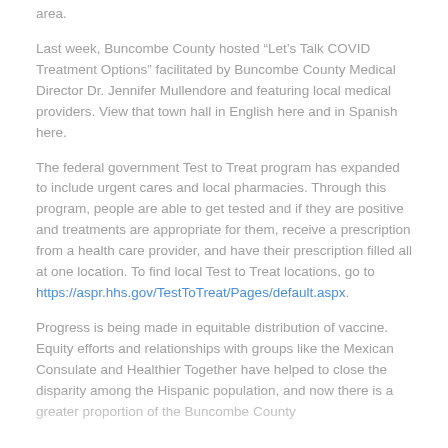area.
Last week, Buncombe County hosted “Let’s Talk COVID Treatment Options” facilitated by Buncombe County Medical Director Dr. Jennifer Mullendore and featuring local medical providers. View that town hall in English here and in Spanish here.
The federal government Test to Treat program has expanded to include urgent cares and local pharmacies. Through this program, people are able to get tested and if they are positive and treatments are appropriate for them, receive a prescription from a health care provider, and have their prescription filled all at one location. To find local Test to Treat locations, go to https://aspr.hhs.gov/TestToTreat/Pages/default.aspx.
Progress is being made in equitable distribution of vaccine. Equity efforts and relationships with groups like the Mexican Consulate and Healthier Together have helped to close the disparity among the Hispanic population, and now there is a greater proportion of the Buncombe County